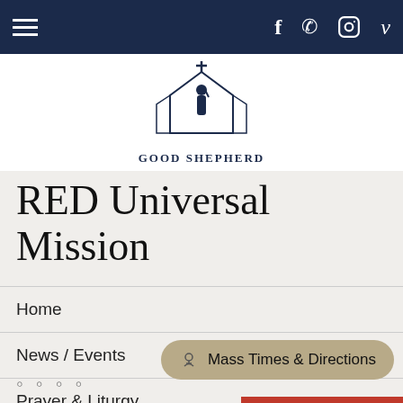Navigation bar with hamburger menu and social icons: Facebook, Phone, Instagram, Vimeo
[Figure (logo): Good Shepherd church logo: silhouette of shepherd figure inside a church building outline with a cross on top, text 'GOOD SHEPHERD' below]
RED Universal Mission
Home
News / Events
Prayer & Liturgy
News
Mass Times & Directions